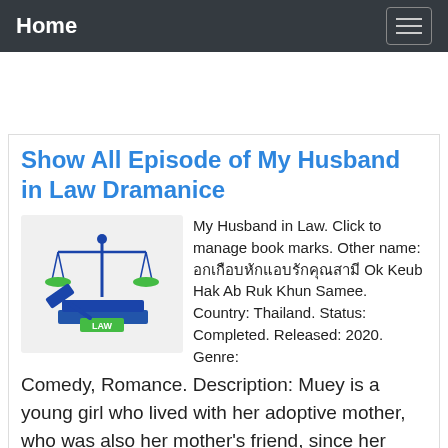Home
Show All Episode of My Husband in Law Dramanice
[Figure (illustration): Law scales and gavel illustration with books and 'LAW' label in blue and green]
My Husband in Law. Click to manage book marks. Other name: อกเกือบหักแอบรักคุณสามี Ok Keub Hak Ab Ruk Khun Samee. Country: Thailand. Status: Completed. Released: 2020. Genre: Comedy, Romance. Description: Muey is a young girl who lived with her adoptive mother, who was also her mother's friend, since her biological mother passed away. Muey also has